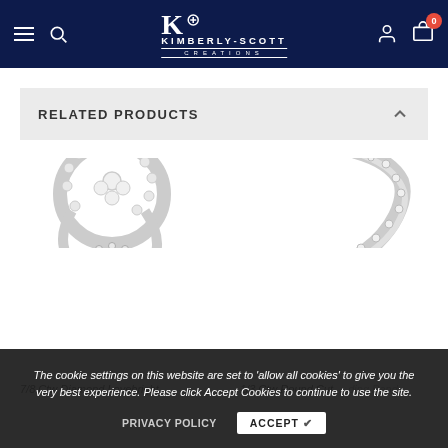Kimberly-Scott Creations
RELATED PRODUCTS
[Figure (photo): Diamond cluster lovebright ring with halo setting in white gold, shown as ring set]
[Figure (photo): 1/3 ctw round cut diamond curved wedding band in white gold]
7/8 Ctw Diamond Lovebright...
1/3 Ctw Round Cut ... ding Band ...
The cookie settings on this website are set to 'allow all cookies' to give you the very best experience. Please click Accept Cookies to continue to use the site.
PRIVACY POLICY   ACCEPT ✔